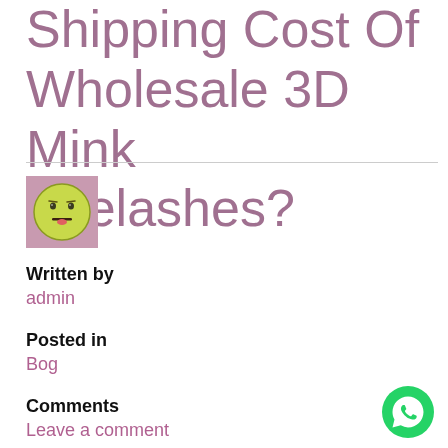Shipping Cost Of Wholesale 3D Mink Eyelashes?
[Figure (illustration): Avatar image: cartoon smiley face with yellow-green color on a pinkish-purple square background]
Written by
admin
Posted in
Bog
Comments
Leave a comment
[Figure (logo): WhatsApp chat button icon — green circle with white phone handset]